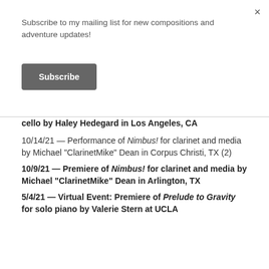Subscribe to my mailing list for new compositions and adventure updates!
Subscribe
×
cello by Haley Hedegard in Los Angeles, CA
10/14/21 — Performance of Nimbus! for clarinet and media by Michael "ClarinetMike" Dean in Corpus Christi, TX (2)
10/9/21 — Premiere of Nimbus! for clarinet and media by Michael "ClarinetMike" Dean in Arlington, TX
5/4/21 — Virtual Event: Premiere of Prelude to Gravity for solo piano by Valerie Stern at UCLA